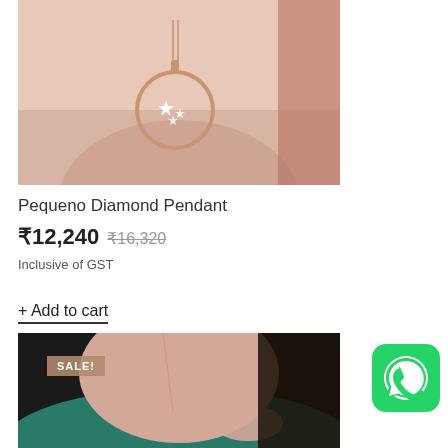[Figure (photo): Woman wearing a rose gold circular diamond pendant necklace, close-up of neck and décolletage area]
Pequeno Diamond Pendant
₹12,240  ₹16,320
Inclusive of GST
+ Add to cart
[Figure (photo): Woman wearing a rose gold necklace, teal top, close-up of neck area with SALE! badge]
SALE!